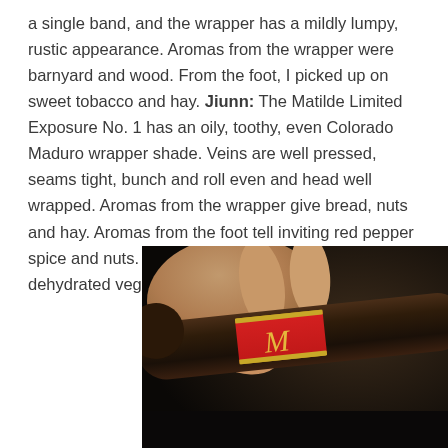a single band, and the wrapper has a mildly lumpy, rustic appearance. Aromas from the wrapper were barnyard and wood. From the foot, I picked up on sweet tobacco and hay. Jiunn: The Matilde Limited Exposure No. 1 has an oily, toothy, even Colorado Maduro wrapper shade. Veins are well pressed, seams tight, bunch and roll even and head well wrapped. Aromas from the wrapper give bread, nuts and hay. Aromas from the foot tell inviting red pepper spice and nuts. Cold draw reveals cedar, hay and dehydrated vegetables.
[Figure (photo): Close-up photo of a hand holding a dark brown cigar with a red and gold band/label, against a dark background.]